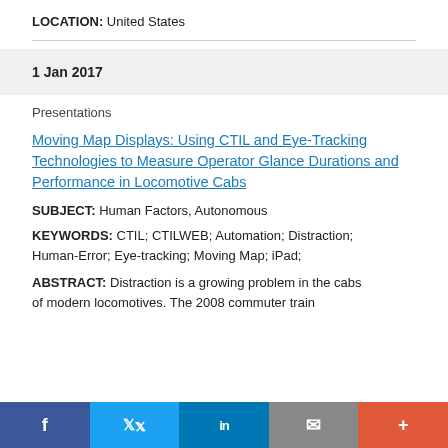LOCATION: United States
1 Jan 2017
Presentations
Moving Map Displays: Using CTIL and Eye-Tracking Technologies to Measure Operator Glance Durations and Performance in Locomotive Cabs
SUBJECT: Human Factors, Autonomous
KEYWORDS: CTIL; CTILWEB; Automation; Distraction; Human-Error; Eye-tracking; Moving Map; iPad;
ABSTRACT: Distraction is a growing problem in the cabs of modern locomotives. The 2008 commuter train